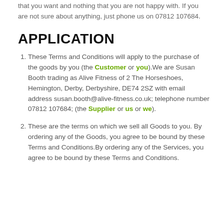that you want and nothing that you are not happy with. If you are not sure about anything, just phone us on 07812 107684.
APPLICATION
These Terms and Conditions will apply to the purchase of the goods by you (the Customer or you).We are Susan Booth trading as Alive Fitness of 2 The Horseshoes, Hemington, Derby, Derbyshire, DE74 2SZ with email address susan.booth@alive-fitness.co.uk; telephone number 07812 107684; (the Supplier or us or we).
These are the terms on which we sell all Goods to you. By ordering any of the Goods, you agree to be bound by these Terms and Conditions.By ordering any of the Services, you agree to be bound by these Terms and Conditions.